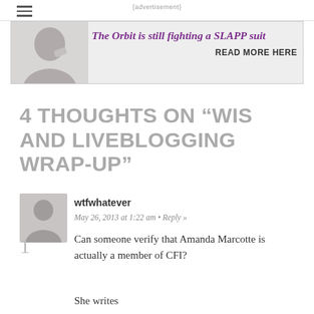[Figure (infographic): Advertisement banner for The Orbit SLAPP suit with text 'The Orbit is still fighting a SLAPP suit READ MORE HERE' and a face silhouette image]
4 THOUGHTS ON "WIS AND LIVEBLOGGING WRAP-UP"
wtfwhatever
May 26, 2013 at 1:22 am  •  Reply »
1
Can someone verify that Amanda Marcotte is actually a member of CFI?
She writes